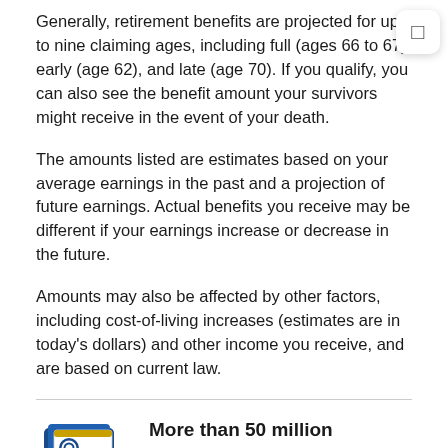Generally, retirement benefits are projected for up to nine claiming ages, including full (ages 66 to 67), early (age 62), and late (age 70). If you qualify, you can also see the benefit amount your survivors might receive in the event of your death.
The amounts listed are estimates based on your average earnings in the past and a projection of future earnings. Actual benefits you receive may be different if your earnings increase or decrease in the future.
Amounts may also be affected by other factors, including cost-of-living increases (estimates are in today's dollars) and other income you receive, and are based on current law.
[Figure (illustration): Illustration of a Social Security statement document with SSA seal, text lines, and a blue folder/binder behind it.]
More than 50 million individuals have established online Social Security